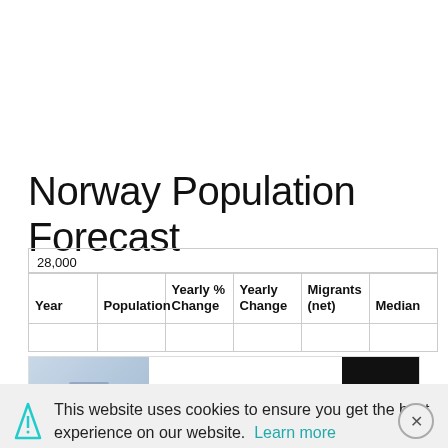Norway Population Forecast
| Year | Population | Yearly % Change | Yearly Change | Migrants (net) | Median |
| --- | --- | --- | --- | --- | --- |
This website uses cookies to ensure you get the best experience on our website. Learn more
[Figure (screenshot): Advertisement banner: All Premium Auto $710 Check Now with Open button]